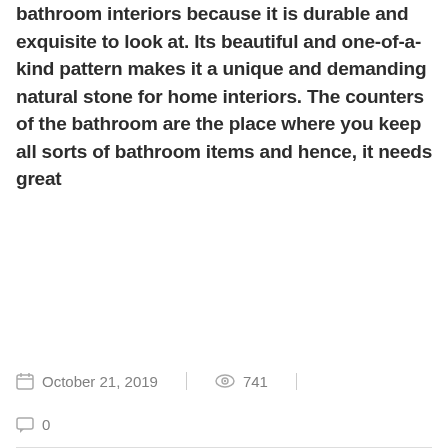bathroom interiors because it is durable and exquisite to look at. Its beautiful and one-of-a-kind pattern makes it a unique and demanding natural stone for home interiors. The counters of the bathroom are the place where you keep all sorts of bathroom items and hence, it needs great
READ MORE
October 21, 2019
741
0